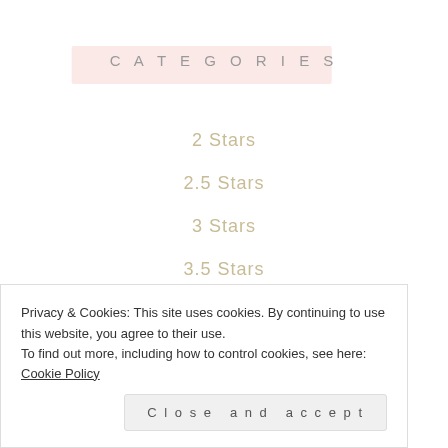CATEGORIES
2 Stars
2.5 Stars
3 Stars
3.5 Stars
4 Stars
4.5 Stars
5 Stars
Privacy & Cookies: This site uses cookies. By continuing to use this website, you agree to their use.
To find out more, including how to control cookies, see here: Cookie Policy
Close and accept